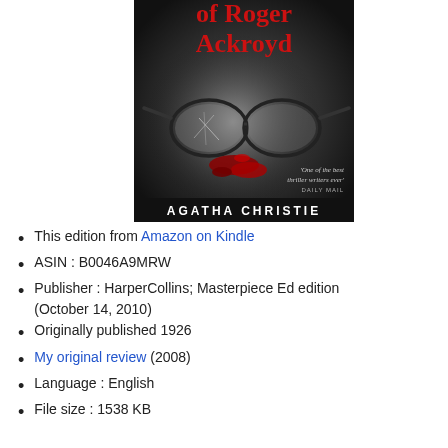[Figure (photo): Book cover of 'The Murder of Roger Ackroyd' by Agatha Christie. Dark cover with red title text at top reading 'of Roger Ackroyd', broken glasses with blood red stain on grey surface in center, quote 'One of the best thriller writers ever' DAILY MAIL at bottom right, and author name AGATHA CHRISTIE in bold white letters at bottom on black band.]
This edition from Amazon on Kindle
ASIN : B0046A9MRW
Publisher : HarperCollins; Masterpiece Ed edition (October 14, 2010)
Originally published 1926
My original review (2008)
Language : English
File size : 1538 KB